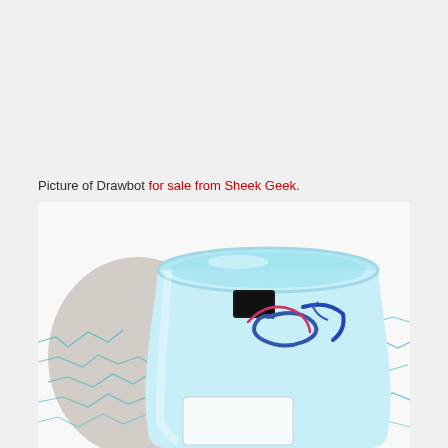Picture of Drawbot for sale from Sheek Geek.
[Figure (photo): Close-up photograph of a Drawbot — a light-blue plastic cup containing a black rectangular component and blue wires/components, sitting on a white surface with teal/blue scribble lines drawn on it. A large circular shadow is visible to the left of the cup.]